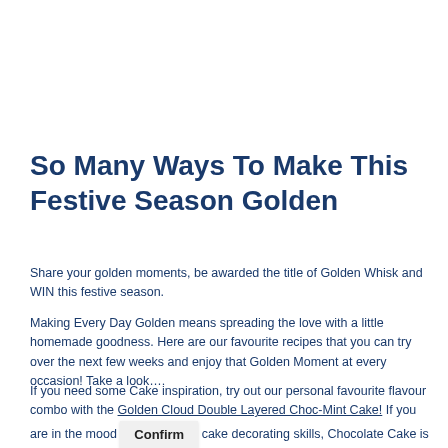So Many Ways To Make This Festive Season Golden
Share your golden moments, be awarded the title of Golden Whisk and WIN this festive season.
Making Every Day Golden means spreading the love with a little homemade goodness. Here are our favourite recipes that you can try over the next few weeks and enjoy that Golden Moment at every occasion! Take a look….
If you need some Cake inspiration, try out our personal favourite flavour combo with the Golden Cloud Double Layered Choc-Mint Cake! If you are in the mood to flex your cake decorating skills, Chocolate Cake is always a hit or keep it classic with a Vanilla Cake. You can use our delicious in-pack icing or take it to the next level by